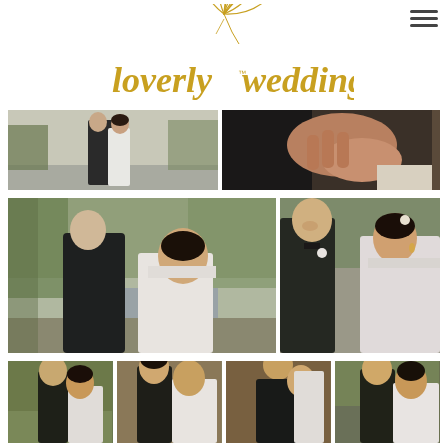[Figure (logo): Loverly Weddings logo with gold script text and flower illustration]
[Figure (photo): Two-panel top strip: left panel shows a couple embracing near water, bride in white dress and groom in black suit; right panel is a close-up of hands holding]
[Figure (photo): Two-panel middle row: large left panel shows bride and groom facing each other in a park setting with trees and lake; right panel is a closer shot of the couple smiling at each other]
[Figure (photo): Four-panel bottom strip showing various wedding couple photos partially visible at bottom of page]